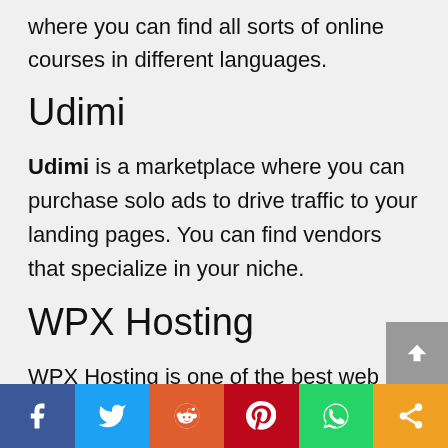where you can find all sorts of online courses in different languages.
Udimi
Udimi is a marketplace where you can purchase solo ads to drive traffic to your landing pages. You can find vendors that specialize in your niche.
WPX Hosting
WPX Hosting is one of the best web hosting services that is a proven winner, gives you value for money, and free SSL certs service.
Social share bar: Facebook, Twitter, Reddit, Pinterest, WhatsApp, Share